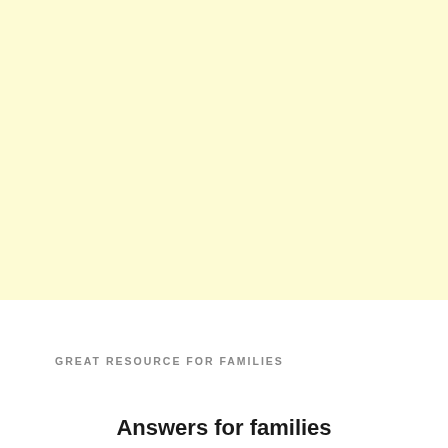[Figure (other): Large pale yellow background block occupying the top portion of the page]
GREAT RESOURCE FOR FAMILIES
Answers for families